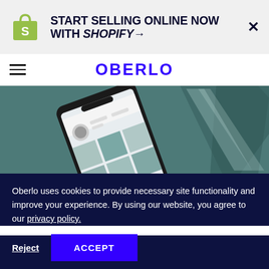[Figure (logo): Shopify ad banner with logo and text: START SELLING ONLINE NOW WITH SHOPIFY→]
OBERLO
[Figure (photo): Hero image of a smartphone lying on a teal/dark surface, screen showing an Instagram-like profile page]
Oberlo uses cookies to provide necessary site functionality and improve your experience. By using our website, you agree to our privacy policy.
Reject  ACCEPT